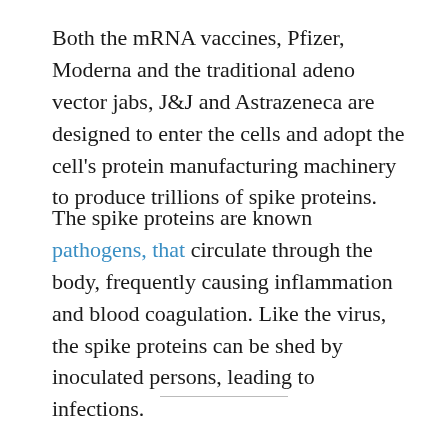Both the mRNA vaccines, Pfizer, Moderna and the traditional adeno vector jabs, J&J and Astrazeneca are designed to enter the cells and adopt the cell's protein manufacturing machinery to produce trillions of spike proteins.
The spike proteins are known pathogens, that circulate through the body, frequently causing inflammation and blood coagulation. Like the virus, the spike proteins can be shed by inoculated persons, leading to infections.